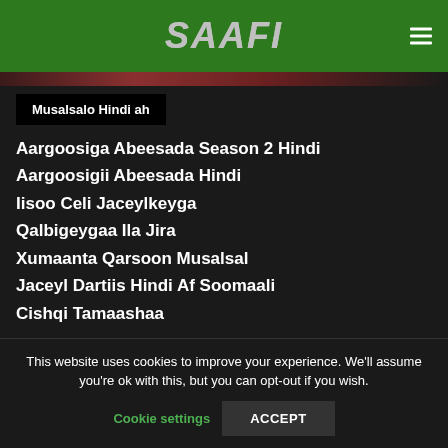SAAFI
Musalsalo Hindi ah
Aargoosiga Abeesada Season 2 Hindi
Aargoosigii Abeesada Hindi
Iisoo Celi Jaceylkeyga
Qalbigeygaa Ila Jira
Xumaanta Qarsoon Musalsal
Jaceyl Dartiis Hindi Af Soomaali
Cishqi Tamaashaa
This website uses cookies to improve your experience. We'll assume you're ok with this, but you can opt-out if you wish.